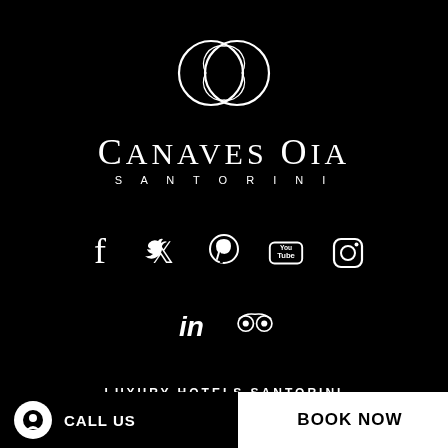[Figure (logo): Canaves Oia Santorini hotel logo — two overlapping circles above the text 'CANAVES OIA' in large serif caps and 'SANTORINI' in spaced small caps below]
[Figure (infographic): Row of social media icons: Facebook, Twitter, Pinterest, YouTube, Instagram in white on black background, followed by a second row with LinkedIn and TripAdvisor icons]
LUXURY HOTELS SANTORINI
Canaves Oia Hotel
Canaves Oia Suites
Canaves Oia Sunday Suites
Canaves Oia Epitome
CALL US
BOOK NOW